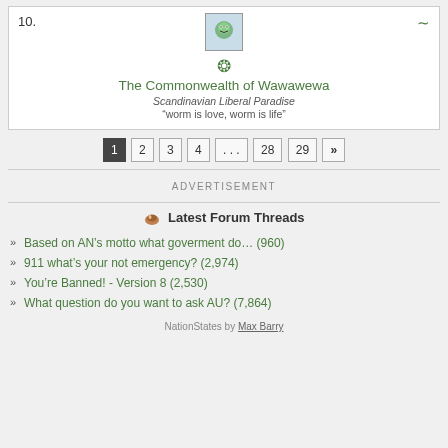10.
[Figure (illustration): Nation flag with green animal icon and laurel wreath emblem for The Commonwealth of Wawawewa]
The Commonwealth of Wawawewa
Scandinavian Liberal Paradise
“worm is love, worm is life”
1  2  3  4  ...  28  29  »
ADVERTISEMENT
Latest Forum Threads
Based on AN’s motto what goverment do… (960)
911 what’s your not emergency? (2,974)
You’re Banned! - Version 8 (2,530)
What question do you want to ask AU? (7,864)
NationStates by Max Barry